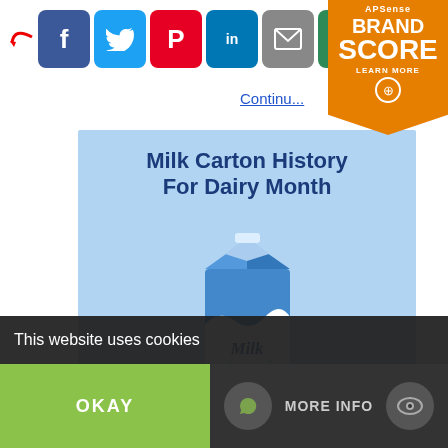[Figure (screenshot): Social media sharing icons: Facebook (blue), Twitter (light blue), Pinterest (red), LinkedIn (blue), Email (grey), Share (green), with a red arrow pointing to them]
[Figure (logo): APSense Brand Score badge - orange pentagon shape with text: APSense, BRAND SCORE, LEARN MORE, plus icon circle]
Continu...
[Figure (illustration): Light blue background article card showing title 'Milk Carton History For Dairy Month' with a milk carton illustration and subtitle 'Article From The Nibble']
This website uses cookies
OKAY
MORE INFO